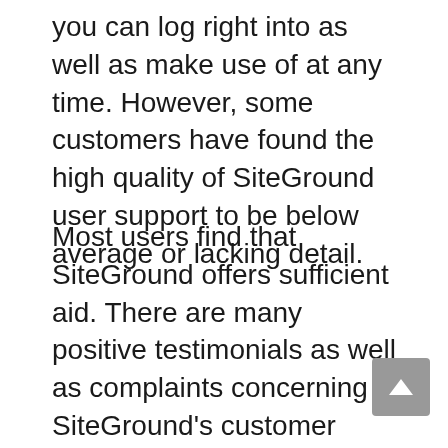you can log right into as well as make use of at any time. However, some customers have found the high quality of SiteGround user support to be below average or lacking detail.
Most users find that SiteGround offers sufficient aid. There are many positive testimonials as well as complaints concerning SiteGround's customer support, as well as most customers appear satisfied by how they're handled by the SiteGround support team.
Nonetheless, there are likewise users that really feel disappointed with what they're getting out of their customer service. The